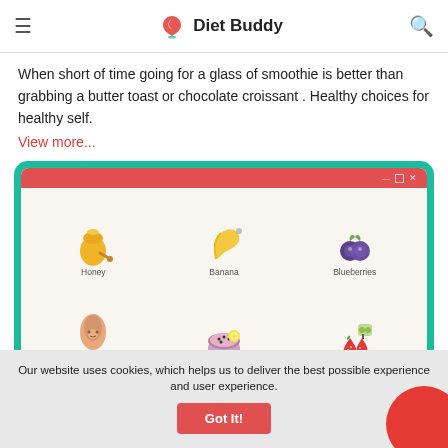Diet Buddy
When short of time going for a glass of smoothie is better than grabbing a butter toast  or chocolate croissant . Healthy choices for healthy self.
View more...
[Figure (illustration): Browser window illustration showing smoothie ingredients: Honey jar, Banana, Blueberries, a smoothie bowl, Almond Butter, strawberries, and another ingredient, all with cartoon-style icons on a light background inside a green-bordered browser frame.]
Our website uses cookies, which helps us to deliver the best possible experience and user experience.